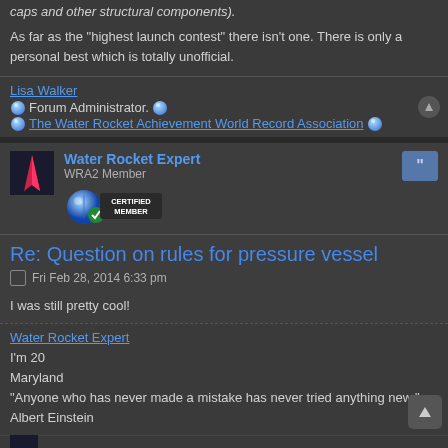caps and other structural components).
As far as the "highest launch contest" there isn't one. There is only a personal best which is totally unofficial.
Lisa Walker
Forum Administrator.
The Water Rocket Achievement World Record Association
Water Rocket Expert
WRA2 Member
[Figure (logo): Certified Member badge with blue sphere and green checkmark]
Re: Question on rules for pressure vessel
Fri Feb 28, 2014 6:33 pm
I was still pretty cool!
Water Rocket Expert
I'm 20
Maryland
"Anyone who has never made a mistake has never tried anything new." -Albert Einstein